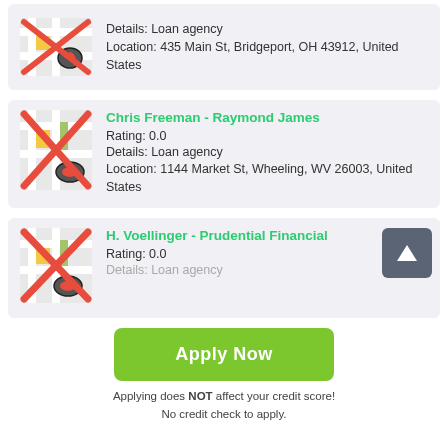[Figure (screenshot): Partial loan agency listing card (top, cropped) with map icon crossed out, showing Details: Loan agency, Location: 435 Main St, Bridgeport, OH 43912, United States]
Details: Loan agency
Location: 435 Main St, Bridgeport, OH 43912, United States
Chris Freeman - Raymond James
Rating: 0.0
Details: Loan agency
Location: 1144 Market St, Wheeling, WV 26003, United States
H. Voellinger - Prudential Financial
Rating: 0.0
Details: Loan agency
Apply Now
Applying does NOT affect your credit score! No credit check to apply.